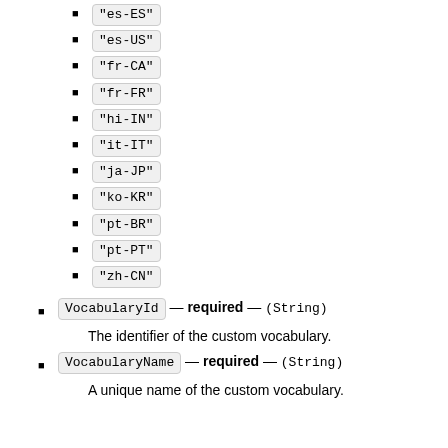"es-ES"
"es-US"
"fr-CA"
"fr-FR"
"hi-IN"
"it-IT"
"ja-JP"
"ko-KR"
"pt-BR"
"pt-PT"
"zh-CN"
VocabularyId — required — (String)
The identifier of the custom vocabulary.
VocabularyName — required — (String)
A unique name of the custom vocabulary.